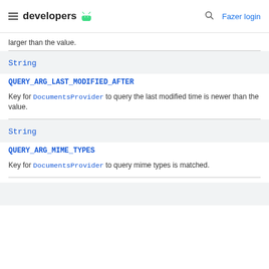developers
larger than the value.
String
QUERY_ARG_LAST_MODIFIED_AFTER
Key for DocumentsProvider to query the last modified time is newer than the value.
String
QUERY_ARG_MIME_TYPES
Key for DocumentsProvider to query mime types is matched.